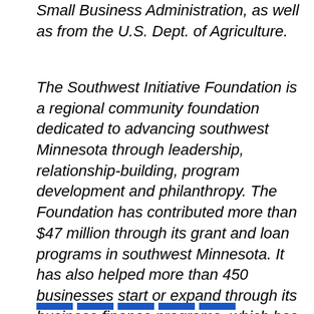Small Business Administration, as well as from the U.S. Dept. of Agriculture.
The Southwest Initiative Foundation is a regional community foundation dedicated to advancing southwest Minnesota through leadership, relationship-building, program development and philanthropy. The Foundation has contributed more than $47 million through its grant and loan programs in southwest Minnesota. It has also helped more than 450 businesses start or expand through its business finance programs, which has created or retained more than 7,500 jobs. To learn more, visit www.swifoundation.org.